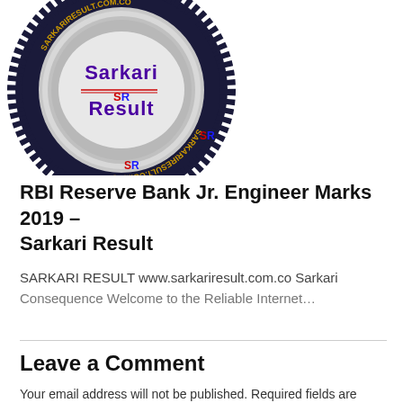[Figure (logo): Sarkari Result circular seal/stamp logo with text 'Sarkari Result' and 'SARKARIRESULT.COM.CO' around the border, silver metallic appearance with dark serrated edge]
RBI Reserve Bank Jr. Engineer Marks 2019 – Sarkari Result
SARKARI RESULT www.sarkariresult.com.co Sarkari
Consequence Welcome to the Reliable Internet…
Leave a Comment
Your email address will not be published. Required fields are marked.